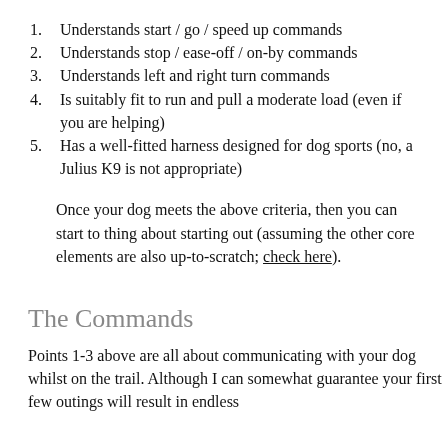Understands start / go / speed up commands
Understands stop / ease-off / on-by commands
Understands left and right turn commands
Is suitably fit to run and pull a moderate load (even if you are helping)
Has a well-fitted harness designed for dog sports (no, a Julius K9 is not appropriate)
Once your dog meets the above criteria, then you can start to thing about starting out (assuming the other core elements are also up-to-scratch; check here).
The Commands
Points 1-3 above are all about communicating with your dog whilst on the trail. Although I can somewhat guarantee your first few outings will result in endless